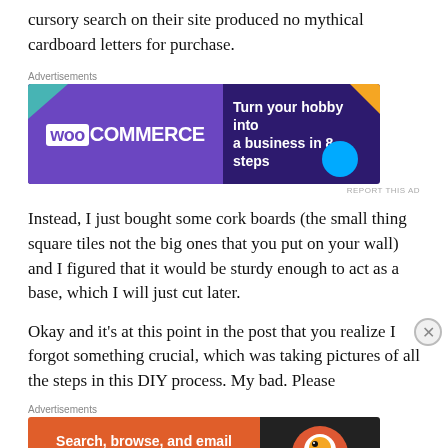cursory search on their site produced no mythical cardboard letters for purchase.
[Figure (other): WooCommerce advertisement banner: purple background with 'WOO COMMERCE' logo on left and 'Turn your hobby into a business in 8 steps' text on right with colorful geometric shapes]
Instead, I just bought some cork boards (the small thing square tiles not the big ones that you put on your wall) and I figured that it would be sturdy enough to act as a base, which I will just cut later.
Okay and it's at this point in the post that you realize I forgot something crucial, which was taking pictures of all the steps in this DIY process. My bad. Please
[Figure (other): DuckDuckGo advertisement banner: orange left side with 'Search, browse, and email with more privacy. All in One Free App' and dark right side with DuckDuckGo logo]